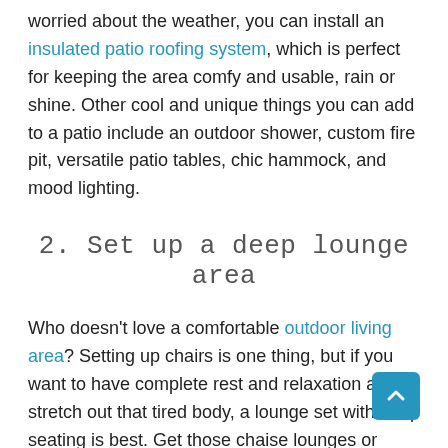worried about the weather, you can install an insulated patio roofing system, which is perfect for keeping the area comfy and usable, rain or shine. Other cool and unique things you can add to a patio include an outdoor shower, custom fire pit, versatile patio tables, chic hammock, and mood lighting.
2. Set up a deep lounge area
Who doesn't love a comfortable outdoor living area? Setting up chairs is one thing, but if you want to have complete rest and relaxation and stretch out that tired body, a lounge set with deep seating is best. Get those chaise lounges or lounge chairs out and place them on your deck, by the swimming pool, or under a canopy. Replace your patio dining table with something comfy too. The more comfortable the seating is, the more likely